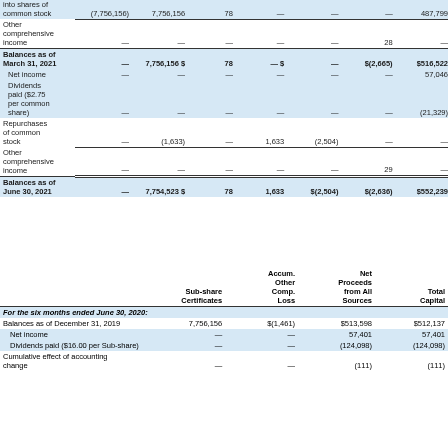|  | Preferred Stock Shares | Common Stock Shares | Common Stock Amount | Treasury Stock Shares | Treasury Stock Amount | Accum. Other Comp. Loss | Retained Earnings / Total |
| --- | --- | --- | --- | --- | --- | --- | --- |
| into shares of common stock | (7,756,156) | 7,756,156 | 78 | — | — | — | 487,799 |
| Other comprehensive income | — | — | — | — | — | 28 | — |
| Balances as of March 31, 2021 | — | 7,756,156 | $ | 78 | —  $ | — | $(2,665) | $516,522 |
| Net income | — | — | — | — | — | — | 57,046 |
| Dividends paid ($2.75 per common share) | — | — | — | — | — | — | (21,329) |
| Repurchases of common stock | — | (1,633) | — | 1,633 | (2,504) | — | — |
| Other comprehensive income | — | — | — | — | — | 29 | — |
| Balances as of June 30, 2021 | — | 7,754,523 | $ | 78 | 1,633 | $(2,504) | $(2,636) | $552,239 |
|  | Sub-share Certificates | Accum. Other Comp. Loss | Net Proceeds from All Sources | Total Capital |
| --- | --- | --- | --- | --- |
| For the six months ended June 30, 2020: |  |  |  |  |
| Balances as of December 31, 2019 | 7,756,156 | $(1,461) | $513,598 | $512,137 |
| Net income | — | — | 57,401 | 57,401 |
| Dividends paid ($16.00 per Sub-share) | — | — | (124,098) | (124,098) |
| Cumulative effect of accounting change | — | — | (111) | (111) |